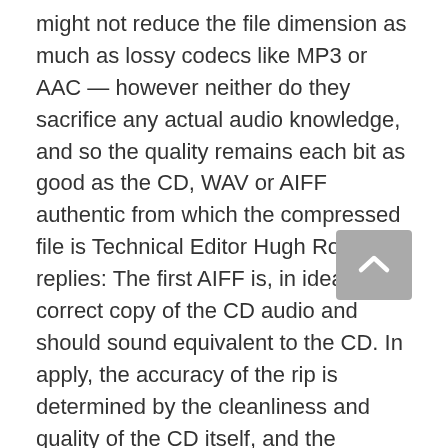might not reduce the file dimension as much as lossy codecs like MP3 or AAC — however neither do they sacrifice any actual audio knowledge, and so the quality remains each bit as good as the CD, WAV or AIFF authentic from which the compressed file is Technical Editor Hugh Robjohns replies: The first AIFF is, in idea, a bit-correct copy of the CD audio and should sound equivalent to the CD. In apply, the accuracy of the rip is determined by the cleanliness and quality of the CD itself, and the potential of the disc participant and ripping software. There isn't a 'up-conversion' as such: lossy data codecs equivalent to AAC throw data away and flac to mp3 converter app for android free download it could actually't be retrieved. The second AIFF is a 'seize' of the output from the AAC file decoder.
I do know this can be a fairly old thread, however I've